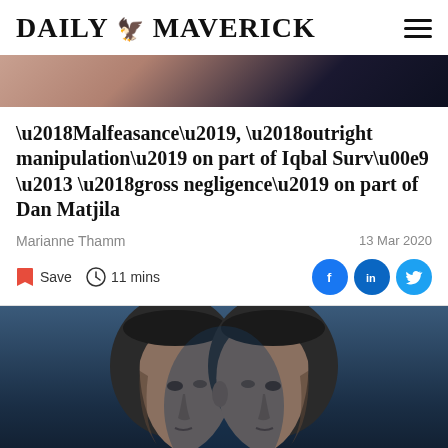DAILY MAVERICK
[Figure (photo): Partial top image strip showing two people, dark toned photo]
'Malfeasance', 'outright manipulation' on part of Iqbal Survé – 'gross negligence' on part of Dan Matjila
Marianne Thamm
13 Mar 2020
Save  11 mins
[Figure (photo): Black and white mirrored portrait of a man in profile facing center, on a dark blue background. Two mirror-image faces facing each other.]